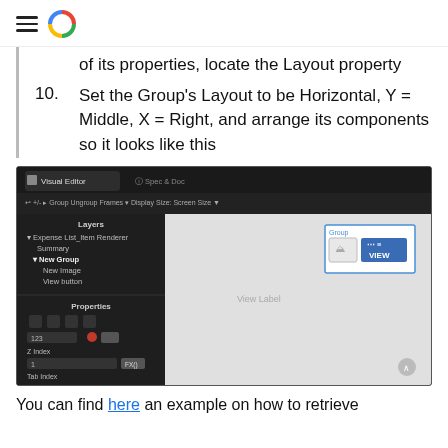of its properties, locate the Layout property
10. Set the Group's Layout to be Horizontal, Y = Middle, X = Right, and arrange its components so it looks like this
[Figure (screenshot): Screenshot of a Visual Editor interface showing layers panel with Expense List_Item Renderer, Summary, New Group, New Image, View button hierarchy, and a canvas with a Group box containing an image placeholder and VIEW button, plus a Properties panel below.]
You can find here an example on how to retrieve